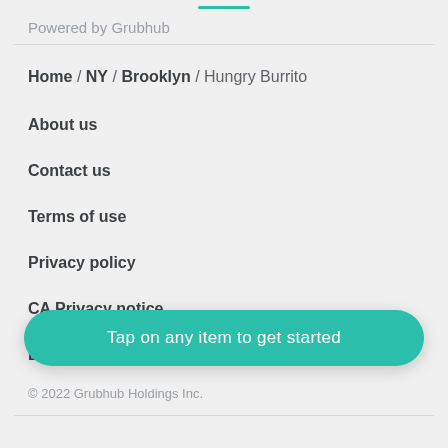Powered by Grubhub
Home / NY / Brooklyn / Hungry Burrito
About us
Contact us
Terms of use
Privacy policy
CA Privacy notice
D
© 2022 Grubhub Holdings Inc.
Tap on any item to get started